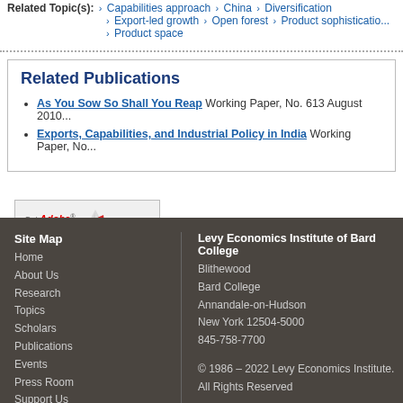Related Topic(s): Capabilities approach > China > Diversification > Export-led growth > Open forest > Product sophistication > Product space
Related Publications
As You Sow So Shall You Reap Working Paper, No. 613 August 2010
Exports, Capabilities, and Industrial Policy in India Working Paper, No.
[Figure (logo): Get Adobe Reader badge]
Site Map Home About Us Research Topics Scholars Publications Events Press Room Support Us Bard College | Levy Economics Institute of Bard College, Blithewood, Bard College, Annandale-on-Hudson, New York 12504-5000, 845-758-7700. © 1986 – 2022 Levy Economics Institute. All Rights Reserved